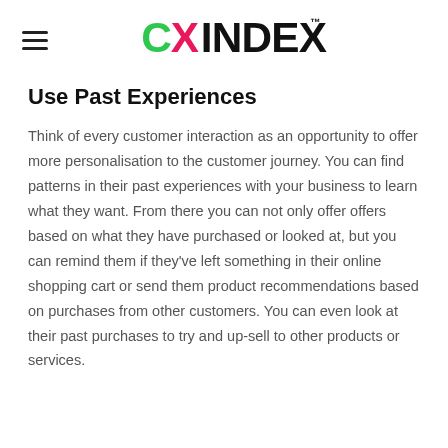CXINDEX™
Use Past Experiences
Think of every customer interaction as an opportunity to offer more personalisation to the customer journey. You can find patterns in their past experiences with your business to learn what they want. From there you can not only offer offers based on what they have purchased or looked at, but you can remind them if they've left something in their online shopping cart or send them product recommendations based on purchases from other customers. You can even look at their past purchases to try and up-sell to other products or services.